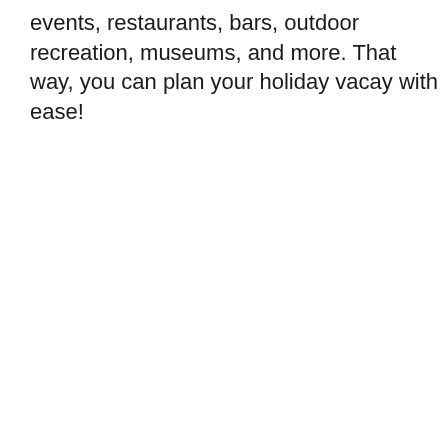events, restaurants, bars, outdoor recreation, museums, and more. That way, you can plan your holiday vacay with ease!